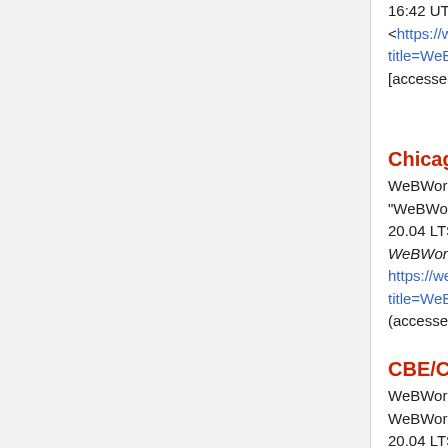16:42 UTC, <https://webwork.maa.org/mediawiki_new/...title=WeBWorK_2.16_Ubuntu_Server_20.0... [accessed 22 August 2022]
Chicago style
WeBWorK_wiki contributors, "WeBWorK 2.16 Ubuntu Server 20.04 LTS Virtual Machine Image," WeBWorK_wiki, , https://webwork.maa.org/mediawiki_new/i...title=WeBWorK_2.16_Ubuntu_Server_20.0... (accessed August 22, 2022).
CBE/CSE style
WeBWorK_wiki contributors. WeBWorK 2.16 Ubuntu Server 20.04 LTS Virtual Machine Image [Internet]. WeBWorK_wiki, ; 2021 Aug 3, 16:42 UTC [cited 2022 Aug